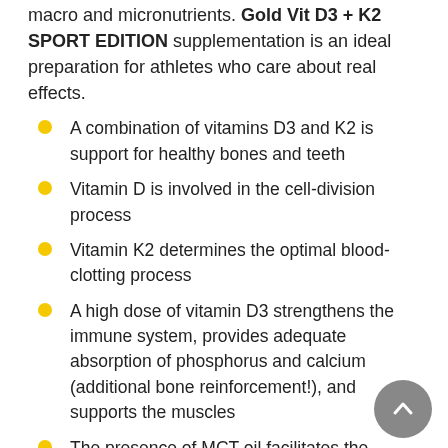macro and micronutrients. Gold Vit D3 + K2 SPORT EDITION supplementation is an ideal preparation for athletes who care about real effects.
A combination of vitamins D3 and K2 is support for healthy bones and teeth
Vitamin D is involved in the cell-division process
Vitamin K2 determines the optimal blood-clotting process
A high dose of vitamin D3 strengthens the immune system, provides adequate absorption of phosphorus and calcium (additional bone reinforcement!), and supports the muscles
The presence of MCT oil facilitates the availability of the contained vitamins